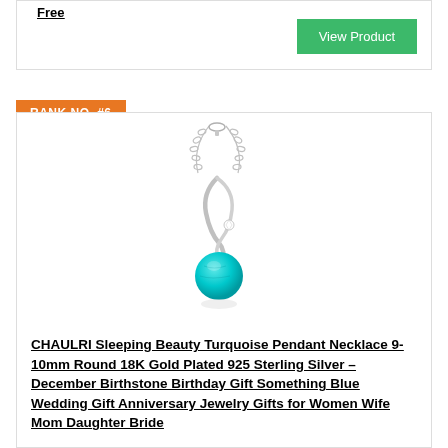Free
View Product
RANK NO. #6
[Figure (photo): Silver necklace pendant with turquoise round stone and twisted silver swirl design, hanging on a delicate chain.]
CHAULRI Sleeping Beauty Turquoise Pendant Necklace 9-10mm Round 18K Gold Plated 925 Sterling Silver – December Birthstone Birthday Gift Something Blue Wedding Gift Anniversary Jewelry Gifts for Women Wife Mom Daughter Bride